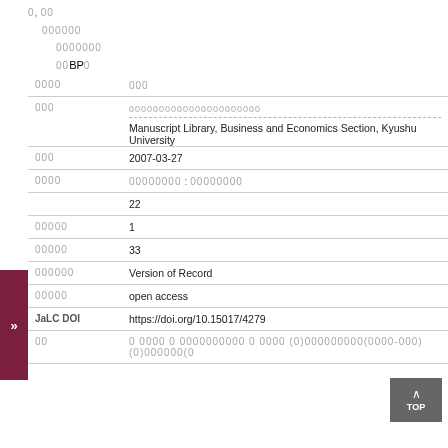0, 00 / 000000 / 0000000 / 00BP0
| Field | Value |
| --- | --- |
| 0000 | 000 |
| 000 | 0000000000000000000000 / Manuscript Library, Business and Economics Section, Kyushu University |
| 000 | 2007-03-27 |
| 0000 | 00000000 : 00000000 |
|  | 22 |
| 00000 | 1 |
| 00000 | 33 |
| 000000 | Version of Record |
| 00000 | open access |
| JaLC DOI | https://doi.org/10.15017/4279 |
| 00 | 0 0000 0 0000000000 0 0000 (0)000000000(0000-000) (0)000000(0 |